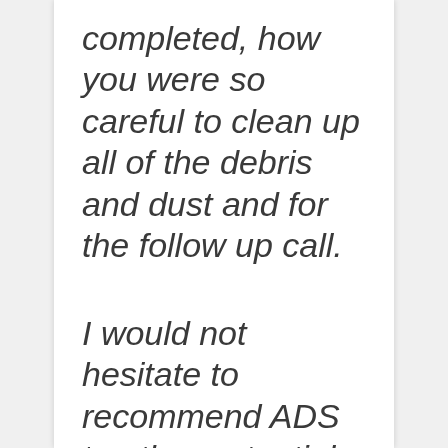completed, how you were so careful to clean up all of the debris and dust and for the follow up call.
I would not hesitate to recommend ADS to other potential customers and we look forward to